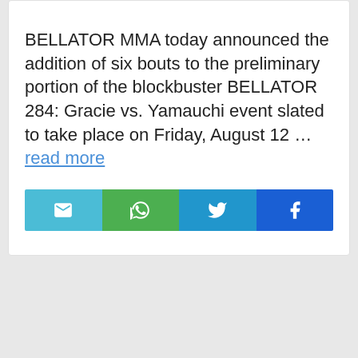BELLATOR MMA today announced the addition of six bouts to the preliminary portion of the blockbuster BELLATOR 284: Gracie vs. Yamauchi event slated to take place on Friday, August 12 … read more
[Figure (other): Social share bar with four buttons: Email (light blue), WhatsApp (green), Twitter (blue), Facebook (dark blue), each with corresponding icon]